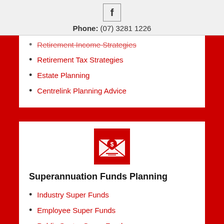f  Phone: (07) 3281 1226
Retirement Income Strategies (cut off)
Retirement Tax Strategies
Estate Planning
Centrelink Planning Advice
[Figure (illustration): Red square icon with envelope and dollar/calculator symbol in white]
Superannuation Funds Planning
Industry Super Funds
Employee Super Funds
Public Sector Super Funds
Retail Super Funds